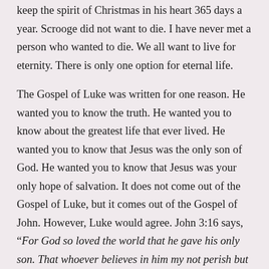keep the spirit of Christmas in his heart 365 days a year. Scrooge did not want to die. I have never met a person who wanted to die. We all want to live for eternity. There is only one option for eternal life.
The Gospel of Luke was written for one reason. He wanted you to know the truth. He wanted you to know about the greatest life that ever lived. He wanted you to know that Jesus was the only son of God. He wanted you to know that Jesus was your only hope of salvation. It does not come out of the Gospel of Luke, but it comes out of the Gospel of John. However, Luke would agree. John 3:16 says, “For God so loved the world that he gave his only son. That whoever believes in him my not perish but have eternal life.”
Everyone agrees!Charles Dickens was a literary genius